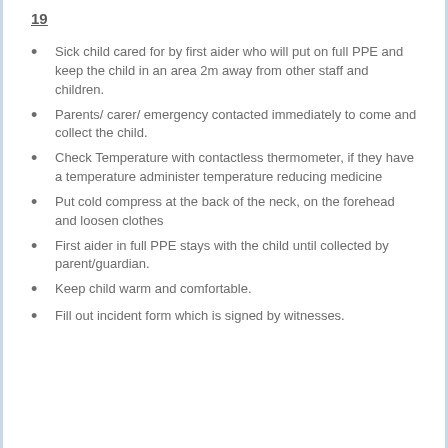19
Sick child cared for by first aider who will put on full PPE and keep the child in an area 2m away from other staff and children.
Parents/ carer/ emergency contacted immediately to come and collect the child.
Check Temperature with contactless thermometer, if they have a temperature administer temperature reducing medicine
Put cold compress at the back of the neck, on the forehead and loosen clothes
First aider in full PPE stays with the child until collected by parent/guardian.
Keep child warm and comfortable.
Fill out incident form which is signed by witnesses.